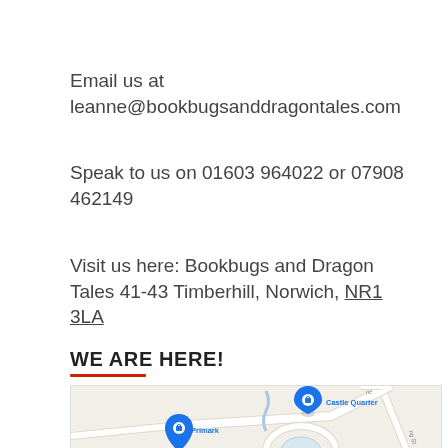Email us at leanne@bookbugsanddragontales.com
Speak to us on 01603 964022 or 07908 462149
Visit us here: Bookbugs and Dragon Tales 41-43 Timberhill, Norwich, NR1 3LA
WE ARE HERE!
[Figure (map): Google Maps screenshot showing the area around Timberhill, Norwich, with landmarks including Primark, Castle Quarter, The Woolpack Inn, NHS Walk-in, and streets Red Lion St, Farmers Ave, Rouen Rd]